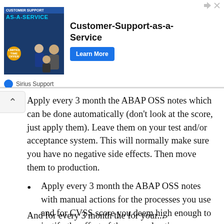[Figure (other): Advertisement banner for Customer-Support-as-a-Service by Sirius Support, with a blue image panel showing people and a 'Limited Time Offer' badge, a bold title, and a 'Learn More' button]
Apply every 3 month the ABAP OSS notes which can be done automatically (don’t look at the score, just apply them). Leave them on your test and/or acceptance system. This will normally make sure you have no negative side effects. Then move them to production.
Apply every 3 month the ABAP OSS notes with manual actions for the processes you use and for CVSS score you deem high enough to justify the effort of the manual actions
And for every 3 month the for your...